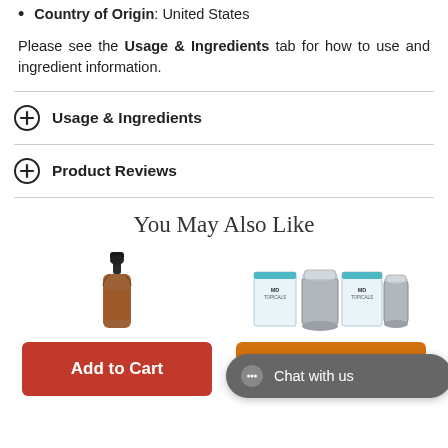Country of Origin: United States
Please see the Usage & Ingredients tab for how to use and ingredient information.
Usage & Ingredients
Product Reviews
You May Also Like
[Figure (photo): Amber dropper bottle product photo]
[Figure (photo): MD Topicals product boxes set photo]
Add to Cart
Chat with us